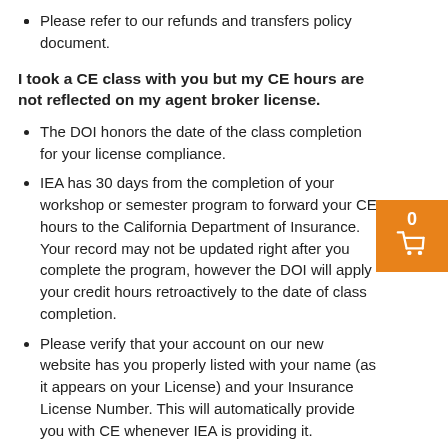Please refer to our refunds and transfers policy document.
I took a CE class with you but my CE hours are not reflected on my agent broker license.
The DOI honors the date of the class completion for your license compliance.
IEA has 30 days from the completion of your workshop or semester program to forward your CE hours to the California Department of Insurance. Your record may not be updated right after you complete the program, however the DOI will apply your credit hours retroactively to the date of class completion.
Please verify that your account on our new website has you properly listed with your name (as it appears on your License) and your Insurance License Number. This will automatically provide you with CE whenever IEA is providing it.